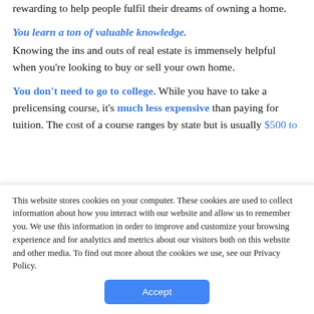rewarding to help people fulfil their dreams of owning a home.
You learn a ton of valuable knowledge.
Knowing the ins and outs of real estate is immensely helpful when you're looking to buy or sell your own home.
You don't need to go to college. While you have to take a prelicensing course, it's much less expensive than paying for tuition. The cost of a course ranges by state but is usually $500 to
This website stores cookies on your computer. These cookies are used to collect information about how you interact with our website and allow us to remember you. We use this information in order to improve and customize your browsing experience and for analytics and metrics about our visitors both on this website and other media. To find out more about the cookies we use, see our Privacy Policy.